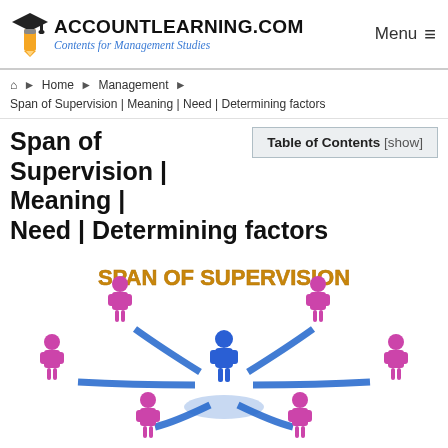[Figure (logo): AccountLearning.com logo with graduation cap and pencil icon, tagline: Contents for Management Studies]
Home ▶ Management ▶ Span of Supervision | Meaning | Need | Determining factors
Span of Supervision | Meaning | Need | Determining factors
Table of Contents [show]
[Figure (infographic): Infographic showing Span of Supervision: a blue figure in the center connected by blue curved arrows to five surrounding purple/magenta figures, with bold gold text reading SPAN OF SUPERVISION at the top]